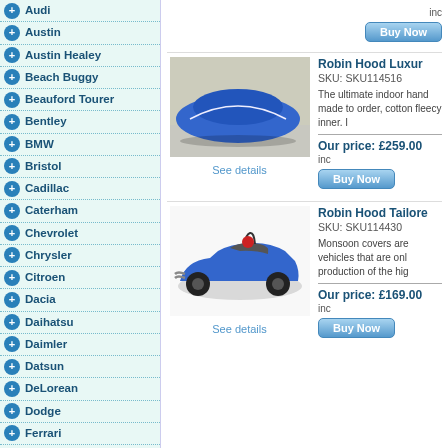Audi
Austin
Austin Healey
Beach Buggy
Beauford Tourer
Bentley
BMW
Bristol
Cadillac
Caterham
Chevrolet
Chrysler
Citroen
Dacia
Daihatsu
Daimler
Datsun
DeLorean
Dodge
Ferrari
FIAT
Ford
Hearse (Funeral Car)
Hillman
Honda
[Figure (photo): Blue car cover over a vehicle indoors]
See details
Robin Hood Luxur...
SKU: SKU114516...
The ultimate indoor hand made to order, cotton fleecy inner. I...
Our price: £259.00
inc...
Buy Now
[Figure (photo): Blue open-top kit car (Robin Hood style)]
See details
Robin Hood Tailore...
SKU: SKU114430...
Monsoon covers are vehicles that are onl production of the hig...
Our price: £169.00
inc...
Buy Now